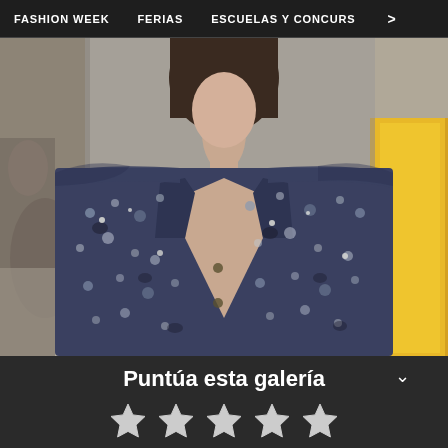FASHION WEEK   FERIAS   ESCUELAS Y CONCURS   >
[Figure (photo): Fashion runway photo of a model wearing a dark navy/blue floral patterned blazer jacket, with a yellow garment partially visible on the right side. Blurred background with people seated.]
Puntúa esta galería
[Figure (other): Five empty/outline star rating icons in gray/white color for user rating input]